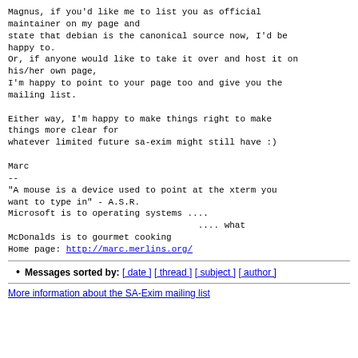Magnus, if you'd like me to list you as official
maintainer on my page and
state that debian is the canonical source now, I'd be
happy to.
Or, if anyone would like to take it over and host it on
his/her own page,
I'm happy to point to your page too and give you the
mailing list.

Either way, I'm happy to make things right to make
things more clear for
whatever limited future sa-exim might still have :)

Marc
--
"A mouse is a device used to point at the xterm you
want to type in" - A.S.R.
Microsoft is to operating systems ....
                                    .... what
McDonalds is to gourmet cooking
Home page: http://marc.merlins.org/
Messages sorted by:  [ date ]  [ thread ]  [ subject ]  [ author ]
More information about the SA-Exim mailing list